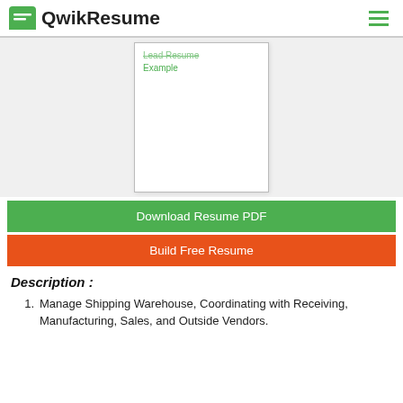QwikResume
[Figure (screenshot): Preview of a Lead Resume Example document card with green title text]
Download Resume PDF
Build Free Resume
Description :
Manage Shipping Warehouse, Coordinating with Receiving, Manufacturing, Sales, and Outside Vendors.